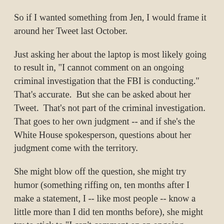So if I wanted something from Jen, I would frame it around her Tweet last October.
Just asking her about the laptop is most likely going to result in, "I cannot comment on an ongoing criminal investigation that the FBI is conducting."  That's accurate.  But she can be asked about her Tweet.  That's not part of the criminal investigation.  That goes to her own judgment -- and if she's the White House spokesperson, questions about her judgment come with the territory.
She might blow off the question, she might try humor (something riffing on, ten months after I make a statement, I -- like most people -- know a little more than I did ten months before), she might try to stick to "I can't comment on an ongoing investigation."
It would be a mistake to fall back on that last one if